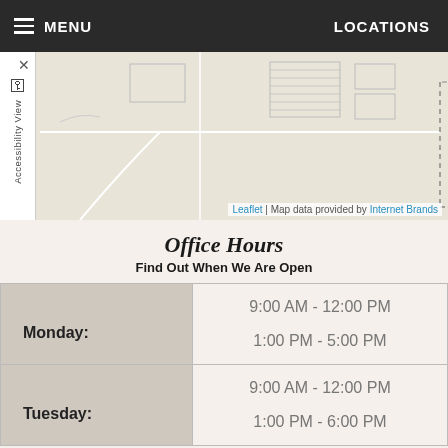MENU | LOCATIONS
[Figure (map): Street map with building outlines and dashed boundary lines]
Office Hours
Find Out When We Are Open
| Day | Hours |
| --- | --- |
| Monday: | 9:00 AM - 12:00 PM
1:00 PM - 5:00 PM |
| Tuesday: | 9:00 AM - 12:00 PM
1:00 PM - 6:00 PM |